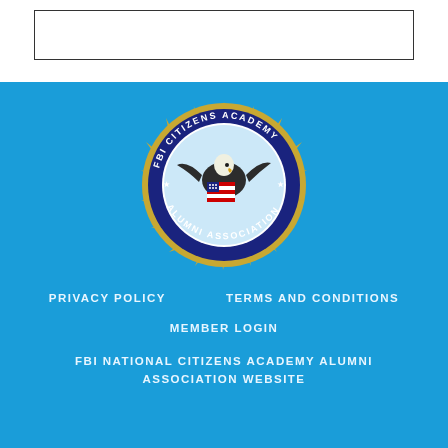[Figure (logo): FBI Citizens Academy Alumni Association seal/logo — circular badge with eagle holding American flag, gold sunburst border, dark navy blue ring with text 'FBI CITIZENS ACADEMY' on top and 'ALUMNI ASSOCIATION' on bottom, with stars]
PRIVACY POLICY
TERMS AND CONDITIONS
MEMBER LOGIN
FBI NATIONAL CITIZENS ACADEMY ALUMNI ASSOCIATION WEBSITE